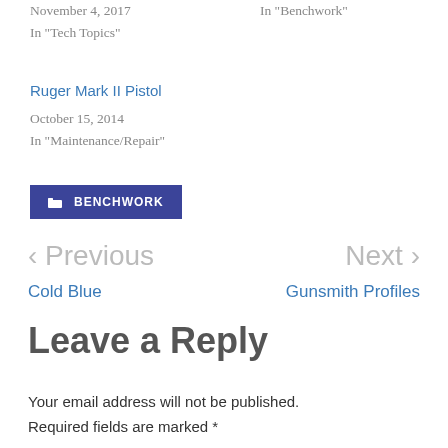November 4, 2017
In "Tech Topics"
In "Benchwork"
Ruger Mark II Pistol
October 15, 2014
In "Maintenance/Repair"
BENCHWORK
< Previous
Cold Blue
Next >
Gunsmith Profiles
Leave a Reply
Your email address will not be published. Required fields are marked *